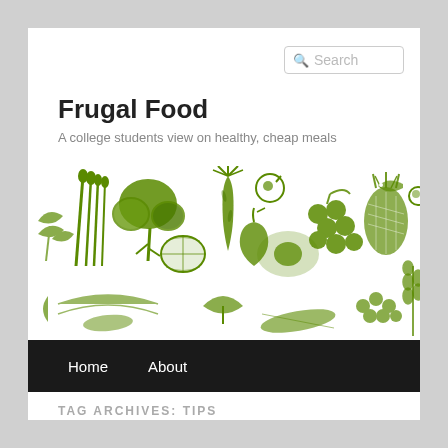[Figure (screenshot): Search box with magnifying glass icon and placeholder text 'Search']
Frugal Food
A college students view on healthy, cheap meals
[Figure (illustration): Banner illustration of green hand-drawn vegetables and fruits including broccoli, carrot, pear, grapes, strawberry, pineapple, egg, lemon, and other produce on white background]
Home   About
TAG ARCHIVES: TIPS